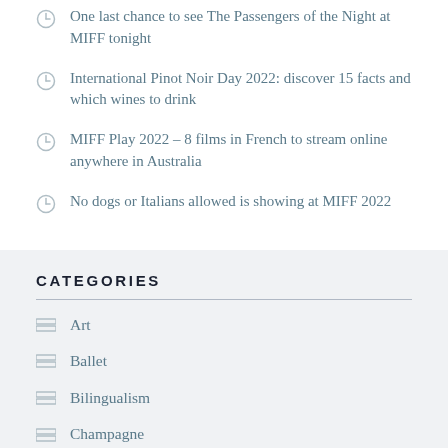One last chance to see The Passengers of the Night at MIFF tonight
International Pinot Noir Day 2022: discover 15 facts and which wines to drink
MIFF Play 2022 – 8 films in French to stream online anywhere in Australia
No dogs or Italians allowed is showing at MIFF 2022
CATEGORIES
Art
Ballet
Bilingualism
Champagne